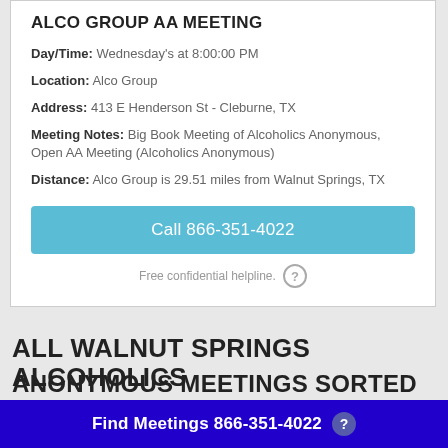ALCO GROUP AA MEETING
Day/Time: Wednesday's at 8:00:00 PM
Location: Alco Group
Address: 413 E Henderson St - Cleburne, TX
Meeting Notes: Big Book Meeting of Alcoholics Anonymous, Open AA Meeting (Alcoholics Anonymous)
Distance: Alco Group is 29.51 miles from Walnut Springs, TX
Call 866-351-4022
Free confidential helpline.
ALL WALNUT SPRINGS ALCOHOLICS ANONYMOUS MEETINGS SORTED BY
Find Meetings 866-351-4022